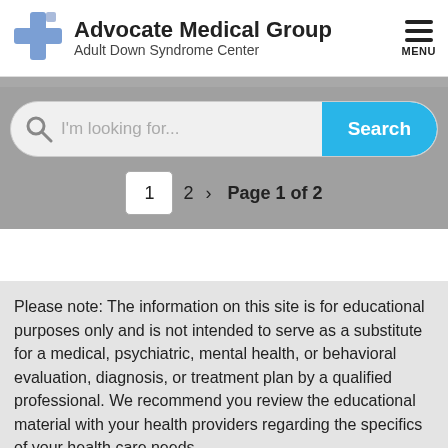Advocate Medical Group Adult Down Syndrome Center
[Figure (logo): Advocate Medical Group blue cross logo icon]
I'm looking for...
Search
1  2  >  Page 1 of 2
Please note: The information on this site is for educational purposes only and is not intended to serve as a substitute for a medical, psychiatric, mental health, or behavioral evaluation, diagnosis, or treatment plan by a qualified professional. We recommend you review the educational material with your health providers regarding the specifics of your health care needs.